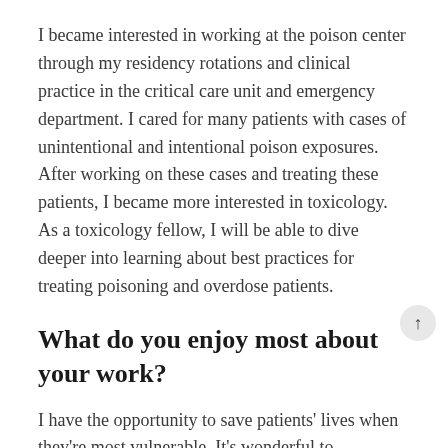I became interested in working at the poison center through my residency rotations and clinical practice in the critical care unit and emergency department. I cared for many patients with cases of unintentional and intentional poison exposures. After working on these cases and treating these patients, I became more interested in toxicology. As a toxicology fellow, I will be able to dive deeper into learning about best practices for treating poisoning and overdose patients.
What do you enjoy most about your work?
I have the opportunity to save patients' lives when they're most vulnerable. It's wonderful to